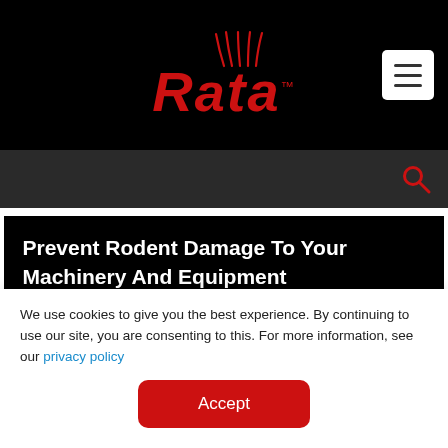Rata™ — logo and navigation header
Prevent Rodent Damage To Your Machinery And Equipment
Topics
Working Smarter (35)
We use cookies to give you the best experience. By continuing to use our site, you are consenting to this. For more information, see our privacy policy
Accept